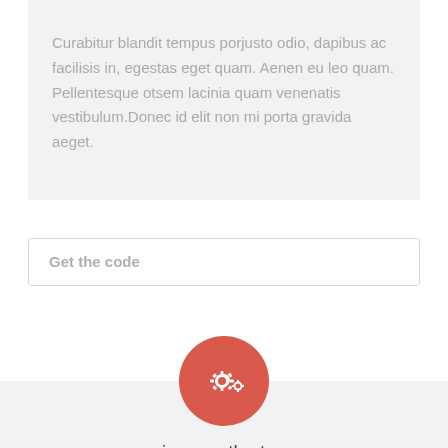Curabitur blandit tempus porjusto odio, dapibus ac facilisis in, egestas eget quam. Aenen eu leo quam. Pellentesque otsem lacinia quam venenatis vestibulum.Donec id elit non mi porta gravida aeget.
Get the code
[Figure (illustration): Red/coral circle icon with gear symbols (settings icon) centered above a light gray card. Below the icon, text reads 'icon on the top'.]
icon on the top